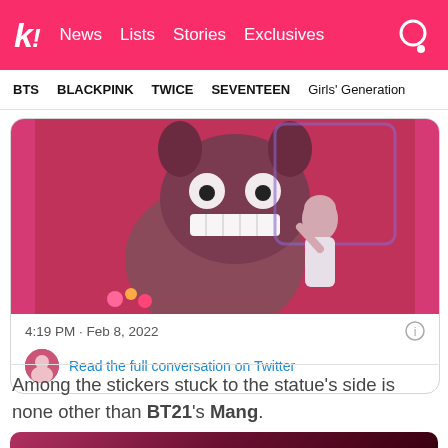k! News Lists Stories Exclusives
BTS BLACKPINK TWICE SEVENTEEN Girls' Generation
[Figure (photo): Embedded tweet showing a young woman posing in front of a large BT21 Mang mascot statue in a pink-lit environment. Tweet timestamp: 4:19 PM · Feb 8, 2022. Includes a 'Read the full conversation on Twitter' link.]
Among the stickers stuck to the statue's side is none other than BT21's Mang.